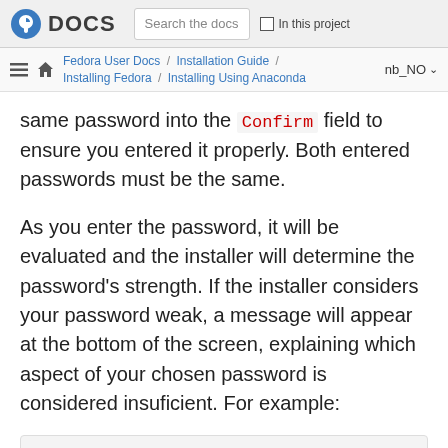Fedora DOCS | Search the docs | In this project
Fedora User Docs / Installation Guide / Installing Fedora / Installing Using Anaconda | nb_NO
same password into the Confirm field to ensure you entered it properly. Both entered passwords must be the same.
As you enter the password, it will be evaluated and the installer will determine the password’s strength. If the installer considers your password weak, a message will appear at the bottom of the screen, explaining which aspect of your chosen password is considered insuficient. For example:
The password you have provided is weak: